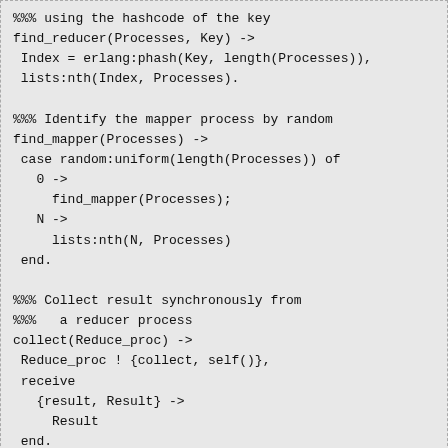[Figure (other): Erlang code block showing find_reducer, find_mapper, and collect functions]
Main function
The MapReduce() function is the entry point of the system.
It first starts all the R number of Reducer processes
It starts all the M number of Mapper processes assign the...